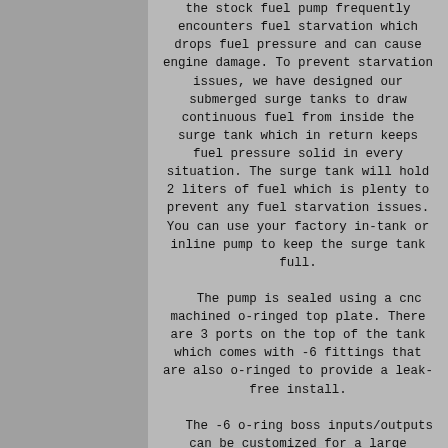the stock fuel pump frequently encounters fuel starvation which drops fuel pressure and can cause engine damage. To prevent starvation issues, we have designed our submerged surge tanks to draw continuous fuel from inside the surge tank which in return keeps fuel pressure solid in every situation. The surge tank will hold 2 liters of fuel which is plenty to prevent any fuel starvation issues. You can use your factory in-tank or inline pump to keep the surge tank full.
The pump is sealed using a cnc machined o-ringed top plate. There are 3 ports on the top of the tank which comes with -6 fittings that are also o-ringed to provide a leak-free install.
The -6 o-ring boss inputs/outputs can be customized for a large variety of fuel fittings such as AN bends, AN straights, stainless hose connections, push lock hose, braided lines, hard lines, and more. The